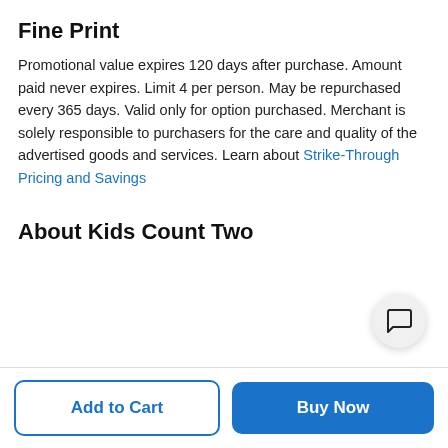Fine Print
Promotional value expires 120 days after purchase. Amount paid never expires. Limit 4 per person. May be repurchased every 365 days. Valid only for option purchased. Merchant is solely responsible to purchasers for the care and quality of the advertised goods and services. Learn about Strike-Through Pricing and Savings
About Kids Count Two
[Figure (other): Chat/message icon button in a circular white button]
Add to Cart
Buy Now